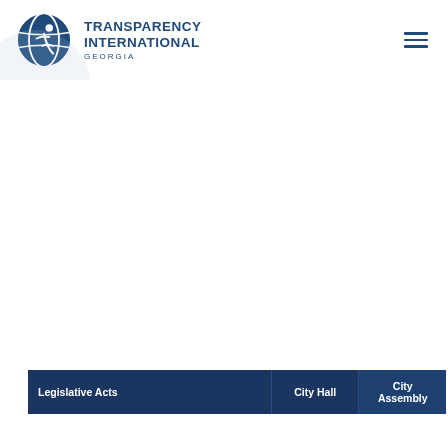[Figure (logo): Transparency International Georgia logo with globe icon and text]
| Legislative Acts | City Hall | City Assembly |
| --- | --- | --- |